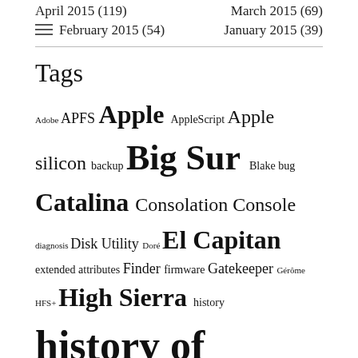April 2015 (119)
March 2015 (69)
February 2015 (54)
January 2015 (39)
Tags
Adobe APFS Apple AppleScript Apple silicon backup Big Sur Blake bug Catalina Consolation Console diagnosis Disk Utility Doré El Capitan extended attributes Finder firmware Gatekeeper Gérôme HFS+ High Sierra history history of painting iCloud Impressionism iOS landscape LockRattler log logs M1 Mac Mac history macOS macOS 10.12 macOS 10.13 macOS 10.14 macOS 10.15 macOS 11 macOS 12 malware